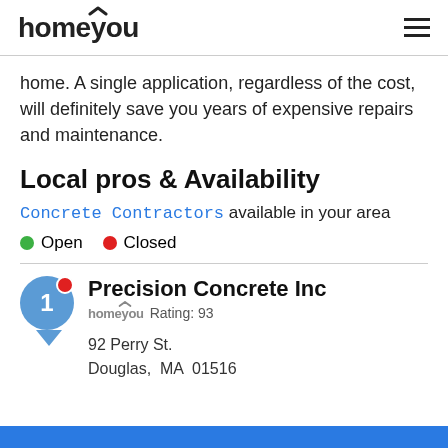homeyou
home. A single application, regardless of the cost, will definitely save you years of expensive repairs and maintenance.
Local pros & Availability
Concrete Contractors available in your area
Open  Closed
Precision Concrete Inc
homeyou Rating: 93
92 Perry St.
Douglas, MA  01516